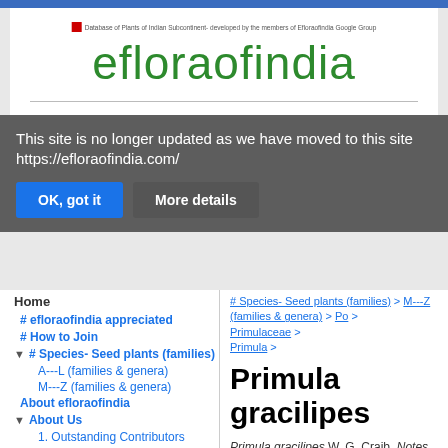efloraofindia — Database of Plants of Indian Subcontinent- developed by the members of Efloraofindia Google Group
This site is no longer updated as we have moved to this site https://efloraofindia.com/
OK, got it | More details
Home
# efloraofindia appreciated
# How to Join
# Species- Seed plants (families)
A---L (families & genera)
M---Z (families & genera)
About efloraofindia
About Us
1. Outstanding Contributors
2. The Pillars
3. Subject/ Area Experts
4. Moderators
5. Major contributors
Details of some important
# Species- Seed plants (families) > M---Z (families & genera) > Po > Primulaceae > Primula >
Primula gracilipes
Primula gracilipes W. G. Craib, Notes Roy. Bot. Gard. Edinburgh 6(29–30):